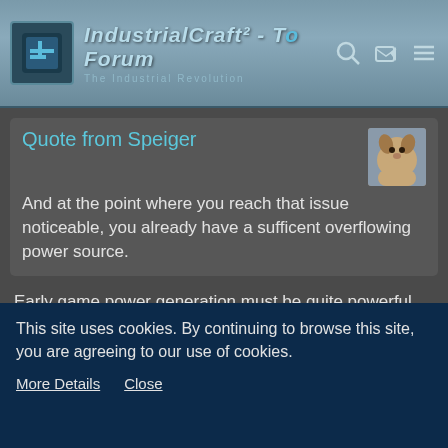IndustrialCraft² - The Forum - The Industrial Revolution
Quote from Speiger
And at the point where you reach that issue noticeable, you already have a sufficent overflowing power source.
Early game power generation must be quite powerful
Daenara
Tree Cutter
This site uses cookies. By continuing to browse this site, you are agreeing to our use of cookies.
More Details   Close